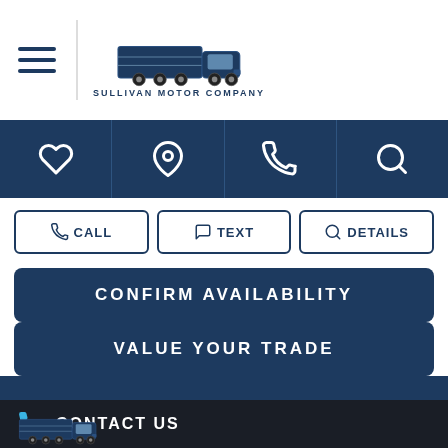[Figure (logo): Sullivan Motor Company logo with semi-truck illustration and company name below]
[Figure (infographic): Dark blue navigation icon bar with heart, location pin, phone, and search icons]
CALL
TEXT
DETAILS
CONFIRM AVAILABILITY
VALUE YOUR TRADE
CONTACT US
[Figure (logo): Sullivan Motor Company small logo at bottom footer]